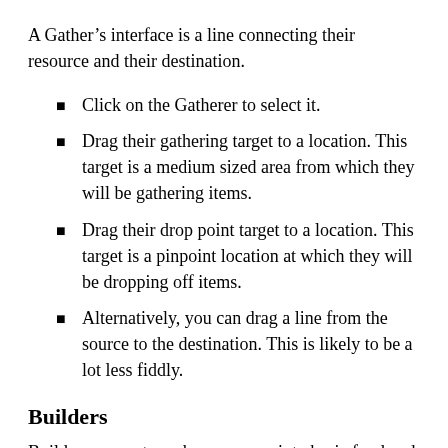A Gather’s interface is a line connecting their resource and their destination.
Click on the Gatherer to select it.
Drag their gathering target to a location. This target is a medium sized area from which they will be gathering items.
Drag their drop point target to a location. This target is a pinpoint location at which they will be dropping off items.
Alternatively, you can drag a line from the source to the destination. This is likely to be a lot less fiddly.
Builders
Builders convert nearby resources into basic food and basic food into advanced food. Conversion takes time. Builders that have access to multiple types of resources,